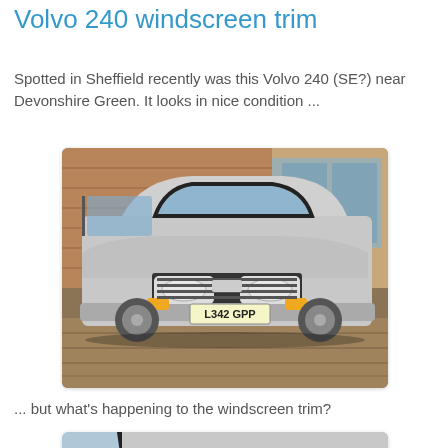Volvo 240 windscreen trim
Spotted in Sheffield recently was this Volvo 240 (SE?) near Devonshire Green. It looks in nice condition ...
[Figure (photo): Front view of a silver Volvo 240 estate car parked near Devonshire Green, Sheffield. The car has a UK registration plate reading L342 GPP. The car is in good condition, photographed in front of brick-faced shop fronts.]
... but what's happening to the windscreen trim?
[Figure (photo): Close-up photo of the Volvo 240's windscreen area showing the windscreen trim detail, with the black rubber seal/trim around the windscreen visible, silver car bodywork and window glass.]